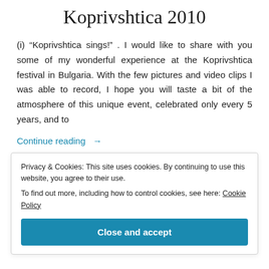Koprivshtica 2010
(i) “Koprivshtica sings!” . I would like to share with you some of my wonderful experience at the Koprivshtica festival in Bulgaria. With the few pictures and video clips I was able to record, I hope you will taste a bit of the atmosphere of this unique event, celebrated only every 5 years, and to
Continue reading →
Privacy & Cookies: This site uses cookies. By continuing to use this website, you agree to their use.
To find out more, including how to control cookies, see here: Cookie Policy
Close and accept